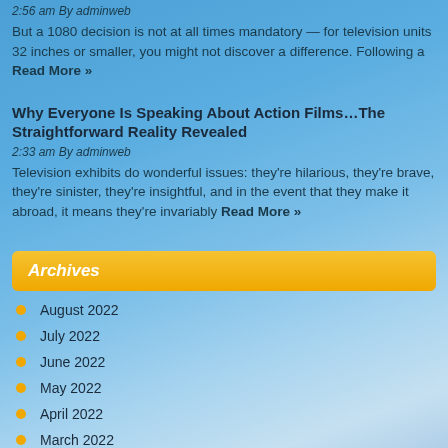2:56 am By adminweb
But a 1080 decision is not at all times mandatory — for television units 32 inches or smaller, you might not discover a difference. Following a Read More »
Why Everyone Is Speaking About Action Films…The Straightforward Reality Revealed
2:33 am By adminweb
Television exhibits do wonderful issues: they're hilarious, they're brave, they're sinister, they're insightful, and in the event that they make it abroad, it means they're invariably Read More »
Archives
August 2022
July 2022
June 2022
May 2022
April 2022
March 2022